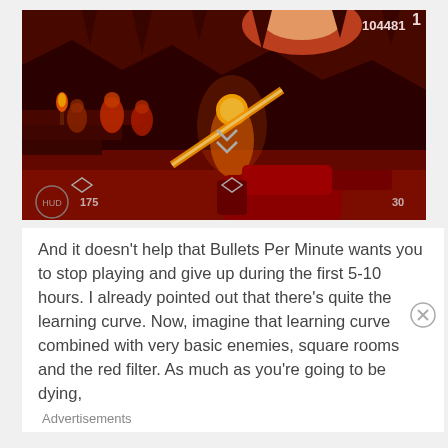[Figure (screenshot): First-person shooter game screenshot showing a red-tinted hellish environment. The player holds a red weapon in the foreground. A glowing yellow enemy is visible in the center. Several other figures are in the background on the left. HUD elements show health/ammo. Score reads 104481 in top right.]
And it doesn’t help that Bullets Per Minute wants you to stop playing and give up during the first 5-10 hours. I already pointed out that there’s quite the learning curve. Now, imagine that learning curve combined with very basic enemies, square rooms and the red filter. As much as you’re going to be dying,
Advertisements